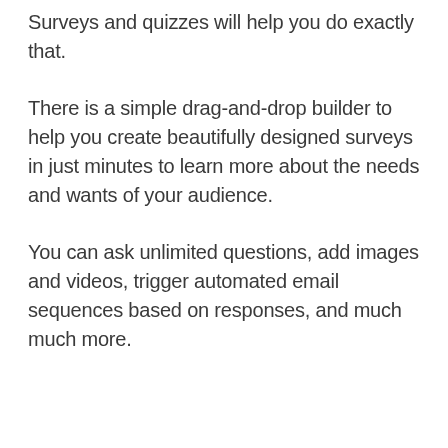Surveys and quizzes will help you do exactly that.
There is a simple drag-and-drop builder to help you create beautifully designed surveys in just minutes to learn more about the needs and wants of your audience.
You can ask unlimited questions, add images and videos, trigger automated email sequences based on responses, and much much more.